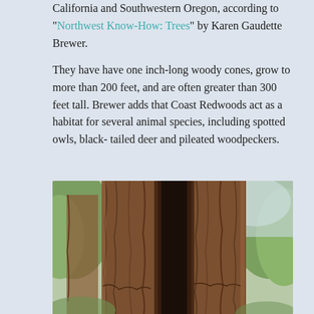California and Southwestern Oregon, according to "Northwest Know-How: Trees" by Karen Gaudette Brewer.
They have have one inch-long woody cones, grow to more than 200 feet, and are often greater than 300 feet tall. Brewer adds that Coast Redwoods act as a habitat for several animal species, including spotted owls, black-tailed deer and pileated woodpeckers.
[Figure (photo): Close-up photograph of a large Coast Redwood tree trunk showing deeply furrowed reddish-brown bark with a large hollow opening through the center of the trunk, surrounded by green foliage and other trees in the background.]